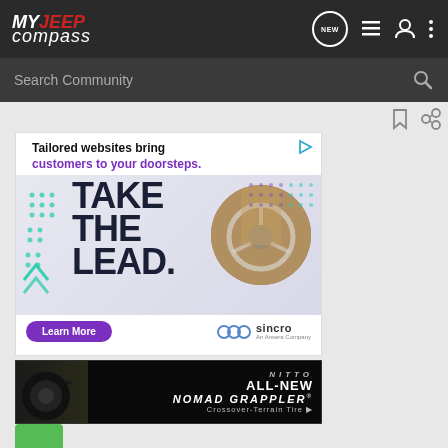MY JEEP compass
Search Community
[Figure (screenshot): Sincro advertisement: 'Tailored websites bring customers to your doorsteps. TAKE THE LEAD.' with a Learn More button and photo of person driving, teal/purple dot patterns]
[Figure (screenshot): Nitto All-New Nomad Grappler Crossover-Terrain Tire advertisement with dark background and tire image]